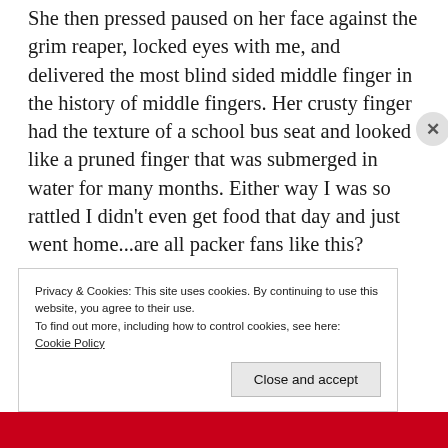She then pressed paused on her face against the grim reaper, locked eyes with me, and delivered the most blind sided middle finger in the history of middle fingers. Her crusty finger had the texture of a school bus seat and looked like a pruned finger that was submerged in water for many months. Either way I was so rattled I didn't even get food that day and just went home...are all packer fans like this?
Privacy & Cookies: This site uses cookies. By continuing to use this website, you agree to their use.
To find out more, including how to control cookies, see here:
Cookie Policy
Close and accept